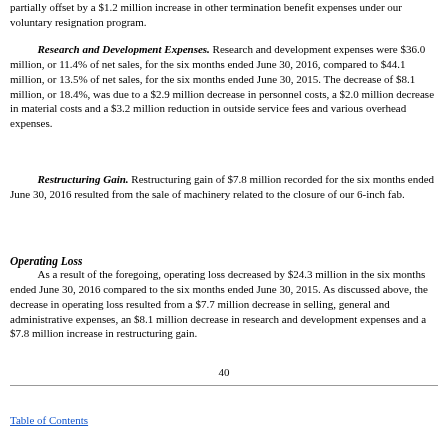partially offset by a $1.2 million increase in other termination benefit expenses under our voluntary resignation program.
Research and Development Expenses. Research and development expenses were $36.0 million, or 11.4% of net sales, for the six months ended June 30, 2016, compared to $44.1 million, or 13.5% of net sales, for the six months ended June 30, 2015. The decrease of $8.1 million, or 18.4%, was due to a $2.9 million decrease in personnel costs, a $2.0 million decrease in material costs and a $3.2 million reduction in outside service fees and various overhead expenses.
Restructuring Gain. Restructuring gain of $7.8 million recorded for the six months ended June 30, 2016 resulted from the sale of machinery related to the closure of our 6-inch fab.
Operating Loss
As a result of the foregoing, operating loss decreased by $24.3 million in the six months ended June 30, 2016 compared to the six months ended June 30, 2015. As discussed above, the decrease in operating loss resulted from a $7.7 million decrease in selling, general and administrative expenses, an $8.1 million decrease in research and development expenses and a $7.8 million increase in restructuring gain.
40
Table of Contents